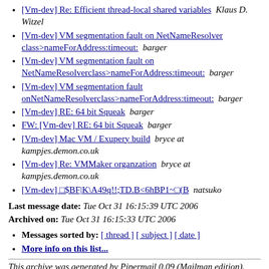[Vm-dev] Re: Efficient thread-local shared variables  Klaus D. Witzel
[Vm-dev] VM segmentation fault on NetNameResolver class>nameForAddress:timeout:   barger
[Vm-dev] VM segmentation fault on NetNameResolverclass>nameForAddress:timeout:   barger
[Vm-dev] VM segmentation fault onNetNameResolverclass>nameForAddress:timeout:   barger
[Vm-dev] RE: 64 bit Squeak   barger
FW: [Vm-dev] RE: 64 bit Squeak   barger
[Vm-dev] Mac VM / Exupery build   bryce at kampjes.demon.co.uk
[Vm-dev] Re: VMMaker organzation   bryce at kampjes.demon.co.uk
[Vm-dev] =$BF|K\A49q!!;TD.B<6hBP1~(B   natsuko
Last message date: Tue Oct 31 16:15:39 UTC 2006
Archived on: Tue Oct 31 16:15:33 UTC 2006
Messages sorted by: [ thread ] [ subject ] [ date ]
More info on this list...
This archive was generated by Pipermail 0.09 (Mailman edition).